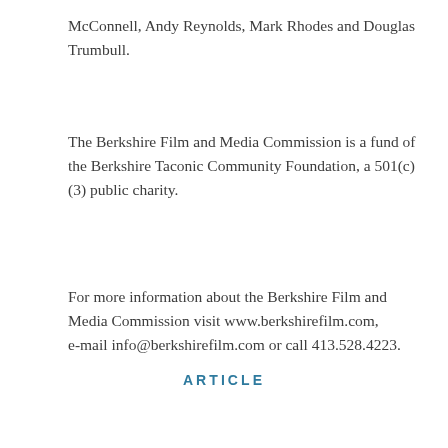McConnell, Andy Reynolds, Mark Rhodes and Douglas Trumbull.
The Berkshire Film and Media Commission is a fund of the Berkshire Taconic Community Foundation, a 501(c)(3) public charity.
For more information about the Berkshire Film and Media Commission visit www.berkshirefilm.com, e-mail info@berkshirefilm.com or call 413.528.4223.
ARTICLE